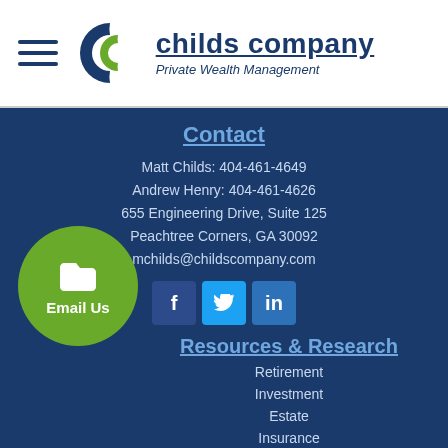[Figure (logo): Childs Company Private Wealth Management logo with interlocking CC letters and company name]
Contact
Matt Childs: 404-461-4649
Andrew Henry: 404-461-4626
655 Engineering Drive, Suite 125
Peachtree Corners, GA 30092
mchilds@childscompany.com
[Figure (infographic): Social media icons: Facebook, Twitter, LinkedIn]
[Figure (infographic): Green circle Email Us button with folder icon]
Resources & Research
Retirement
Investment
Estate
Insurance
Tax
Money
Lifestyle
All Articles